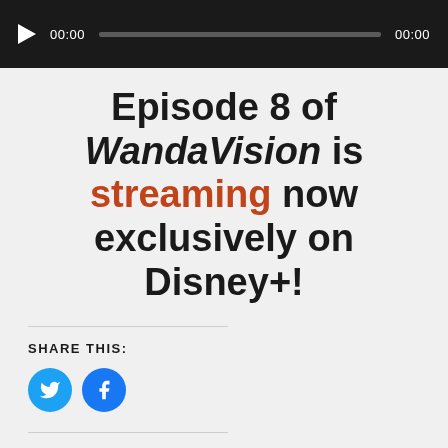[Figure (other): Audio player bar with play button, timestamp 00:00, progress bar, and end time 00:00]
Episode 8 of WandaVision is streaming now exclusively on Disney+!
SHARE THIS:
[Figure (other): Twitter and Facebook share icon buttons (blue circles)]
LIKE THIS:
Loading...